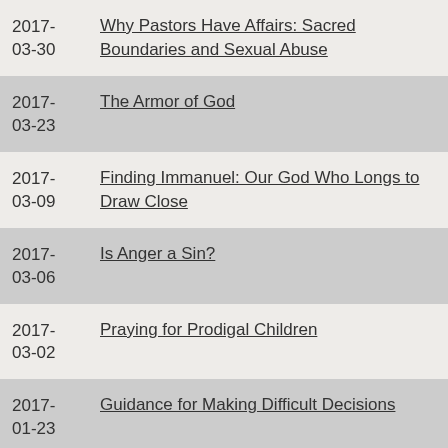2017-03-30 Why Pastors Have Affairs: Sacred Boundaries and Sexual Abuse
2017-03-23 The Armor of God
2017-03-09 Finding Immanuel: Our God Who Longs to Draw Close
2017-03-06 Is Anger a Sin?
2017-03-02 Praying for Prodigal Children
2017-01-23 Guidance for Making Difficult Decisions